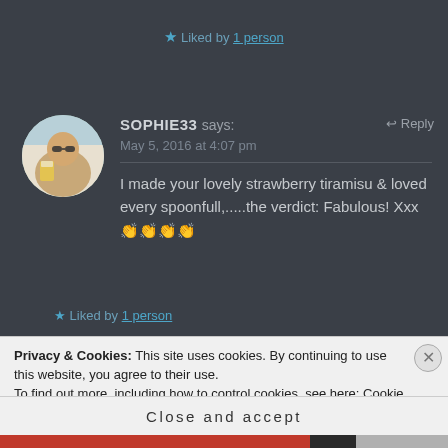★ Liked by 1 person
[Figure (photo): Circular avatar photo of a woman wearing sunglasses and holding a beer glass, smiling outdoors]
SOPHIE33 says:
May 5, 2016 at 4:07 pm
I made your lovely strawberry tiramisu & loved every spoonfull,.....the verdict: Fabulous! Xxx 👏👏👏👏
★ Liked by 1 person
Privacy & Cookies: This site uses cookies. By continuing to use this website, you agree to their use.
To find out more, including how to control cookies, see here: Cookie Policy
Close and accept